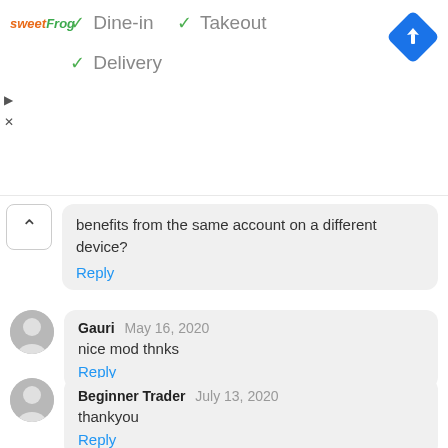[Figure (screenshot): Ad banner for sweetFrog showing dine-in, takeout, delivery options with checkmarks, and a navigation icon]
benefits from the same account on a different device?
Reply
Gauri May 16, 2020
nice mod thnks
Reply
Beginner Trader July 13, 2020
thankyou
Reply